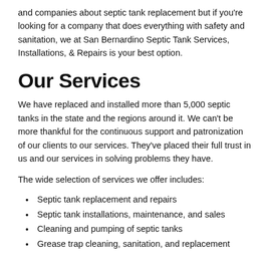and companies about septic tank replacement but if you're looking for a company that does everything with safety and sanitation, we at San Bernardino Septic Tank Services, Installations, & Repairs is your best option.
Our Services
We have replaced and installed more than 5,000 septic tanks in the state and the regions around it. We can't be more thankful for the continuous support and patronization of our clients to our services. They've placed their full trust in us and our services in solving problems they have.
The wide selection of services we offer includes:
Septic tank replacement and repairs
Septic tank installations, maintenance, and sales
Cleaning and pumping of septic tanks
Grease trap cleaning, sanitation, and replacement